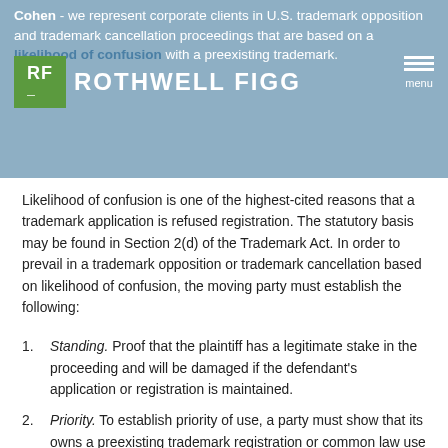Cohen - we represent corporate clients in U.S. trademark opposition and trademark cancellation proceedings that are based on a likelihood of confusion with a preexisting trademark.
Likelihood of confusion is one of the highest-cited reasons that a trademark application is refused registration. The statutory basis may be found in Section 2(d) of the Trademark Act. In order to prevail in a trademark opposition or trademark cancellation based on likelihood of confusion, the moving party must establish the following:
Standing. Proof that the plaintiff has a legitimate stake in the proceeding and will be damaged if the defendant's application or registration is maintained.
Priority. To establish priority of use, a party must show that its owns a preexisting trademark registration or common law use that has not been abandoned. A plaintiff may prove prior use through either actual use or use